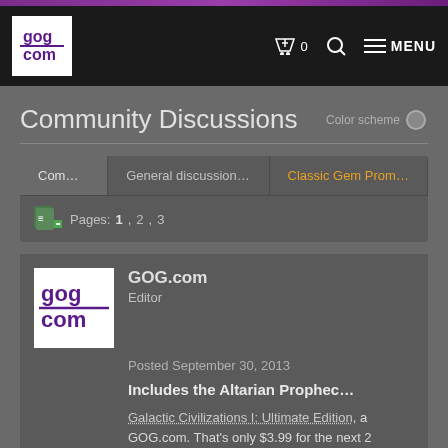GOG.com | Community Discussions
Community Discussions
Color scheme
Community | General discussion (archi... | Classic Gem Promo: Gal...
Pages: 1 , 2 , 3
GOG.com
Editor
Posted September 30, 2013
Includes the Altarian Prophecy expansion
Galactic Civilizations I: Ultimate Edition, a... GOG.com. That's only $3.99 for the next 2
We are Terrans! We are superior! We are d... nothing but parasites. In hopes of gaining... stars begins. There are inhabitable worlds...